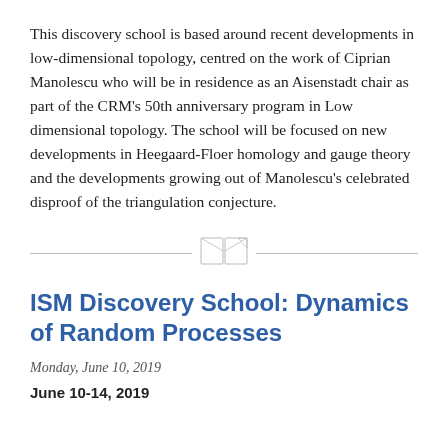This discovery school is based around recent developments in low-dimensional topology, centred on the work of Ciprian Manolescu who will be in residence as an Aisenstadt chair as part of the CRM's 50th anniversary program in Low dimensional topology. The school will be focused on new developments in Heegaard-Floer homology and gauge theory and the developments growing out of Manolescu's celebrated disproof of the triangulation conjecture.
[Figure (illustration): A small decorative divider icon resembling an open book or folded paper, centered between two horizontal lines]
ISM Discovery School: Dynamics of Random Processes
Monday, June 10, 2019
June 10-14, 2019